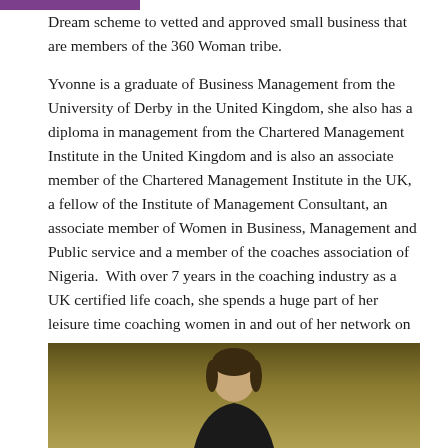Dream scheme to vetted and approved small business that are members of the 360 Woman tribe.
Yvonne is a graduate of Business Management from the University of Derby in the United Kingdom, she also has a diploma in management from the Chartered Management Institute in the United Kingdom and is also an associate member of the Chartered Management Institute in the UK, a fellow of the Institute of Management Consultant, an associate member of Women in Business, Management and Public service and a member of the coaches association of Nigeria. With over 7 years in the coaching industry as a UK certified life coach, she spends a huge part of her leisure time coaching women in and out of her network on personal development, leadership, clarity, and business.
[Figure (photo): A partial photo of a person (head/shoulders visible) against a dark olive/golden background, cropped at the bottom of the page.]